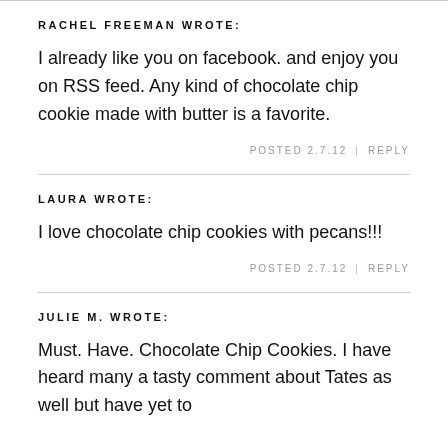RACHEL FREEMAN WROTE:
I already like you on facebook. and enjoy you on RSS feed. Any kind of chocolate chip cookie made with butter is a favorite.
POSTED 2.7.12  |  REPLY
LAURA WROTE:
I love chocolate chip cookies with pecans!!!
POSTED 2.7.12  |  REPLY
JULIE M. WROTE:
Must. Have. Chocolate Chip Cookies. I have heard many a tasty comment about Tates as well but have yet to